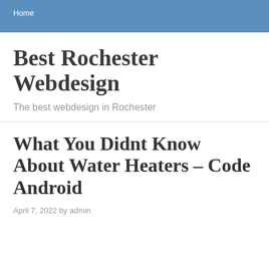Home
Best Rochester Webdesign
The best webdesign in Rochester
What You Didnt Know About Water Heaters – Code Android
April 7, 2022 by admin